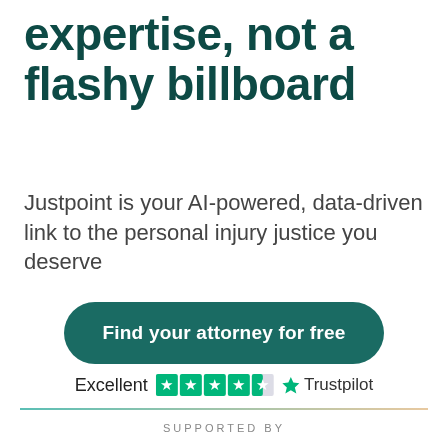expertise, not a flashy billboard
Justpoint is your AI-powered, data-driven link to the personal injury justice you deserve
Find your attorney for free
Excellent  ★★★★½  Trustpilot
SUPPORTED BY